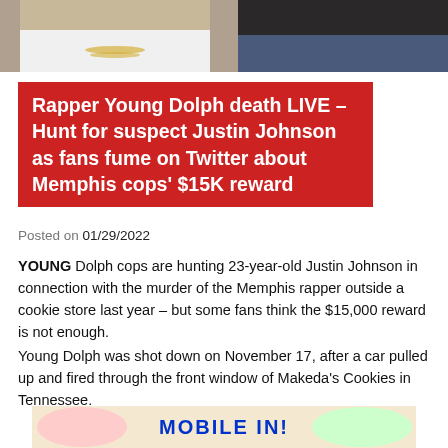[Figure (photo): Top portion of a photo showing two people, cropped at the bottom of their faces/necks with clothing visible]
Rapper Young Dolph death LIVE – Hunt for suspect Justin Johnson as fans fume on Twitter about Memphis cops' $15K reward
Posted on 01/29/2022
YOUNG Dolph cops are hunting 23-year-old Justin Johnson in connection with the murder of the Memphis rapper outside a cookie store last year – but some fans think the $15,000 reward is not enough.
Young Dolph was shot down on November 17, after a car pulled up and fired through the front window of Makeda's Cookies in Tennessee.
[Figure (photo): Advertisement banner showing colorful cartoon characters with text MOBILE INI]